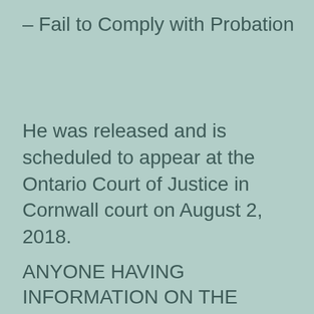– Fail to Comply with Probation
He was released and is scheduled to appear at the Ontario Court of Justice in Cornwall court on August 2, 2018.
ANYONE HAVING INFORMATION ON THE ABOVE OR ANY CRIME IS ASKED TO CALL